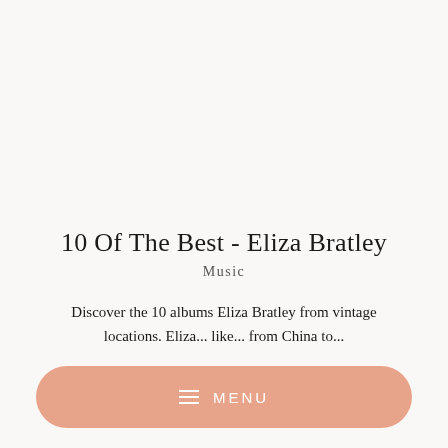10 Of The Best - Eliza Bratley
Music
Discover the 10 albums Eliza Bratley from vintage locations. Eliza... like... from China to...